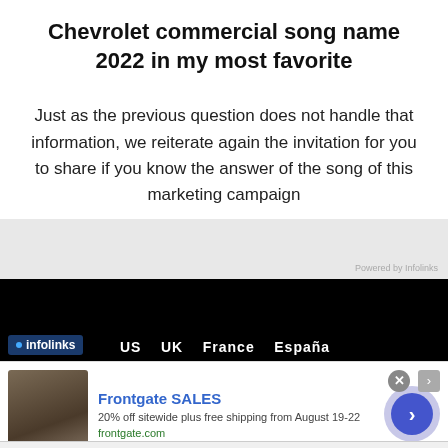Chevrolet commercial song name 2022 in my most favorite
Just as the previous question does not handle that information, we reiterate again the invitation for you to share if you know the answer of the song of this marketing campaign
[Figure (screenshot): Dark banner area with infolinks badge and country navigation showing US, UK, France, España]
[Figure (screenshot): Advertisement for Frontgate SALES: 20% off sitewide plus free shipping from August 19-22, frontgate.com, with outdoor furniture image and blue CTA button]